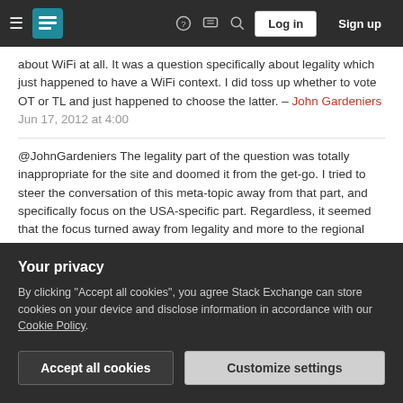Stack Exchange navigation bar with hamburger menu, logo, help, chat, search icons, Log in and Sign up buttons
about WiFi at all. It was a question specifically about legality which just happened to have a WiFi context. I did toss up whether to vote OT or TL and just happened to choose the latter. – John Gardeniers Jun 17, 2012 at 4:00
@JohnGardeniers The legality part of the question was totally inappropriate for the site and doomed it from the get-go. I tried to steer the conversation of this meta-topic away from that part, and specifically focus on the USA-specific part. Regardless, it seemed that the focus turned away from legality and more to the regional nature of it. I suppose we could substitute this wifi question with another question that was good in all
Your privacy
By clicking "Accept all cookies", you agree Stack Exchange can store cookies on your device and disclose information in accordance with our Cookie Policy.
Accept all cookies  Customize settings